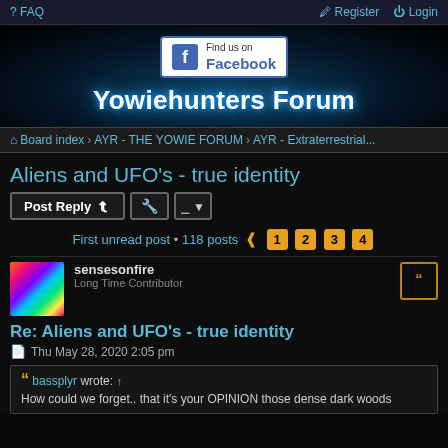FAQ  Register  Login
[Figure (logo): Yowiehunters Forum banner with Facebook badge and glowing teal light effect]
Board index › AYR - THE YOWIE FORUM › AYR - Extraterrestrial...
Aliens and UFO's - true identity
Post Reply
First unread post • 118 posts  1 2 3 4
sensesonfire
Long Time Contributor
Re: Aliens and UFO's - true identity
Thu May 28, 2020 2:05 pm
bassplyr wrote: ↑
How could we forget.. that it's your OPINION those dense dark woods